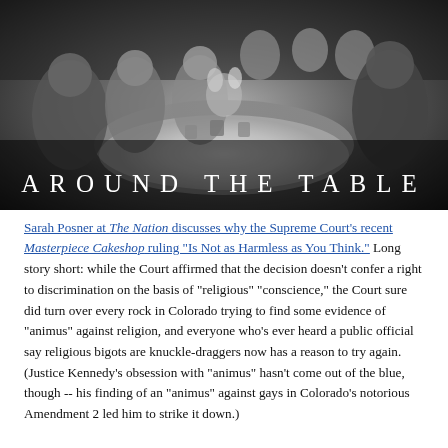[Figure (photo): Black and white vintage photo of a group of people sitting around a table at what appears to be a restaurant or social gathering, with the text 'AROUND THE TABLE' overlaid at the bottom of the image.]
Sarah Posner at The Nation discusses why the Supreme Court's recent Masterpiece Cakeshop ruling "Is Not as Harmless as You Think." Long story short: while the Court affirmed that the decision doesn't confer a right to discrimination on the basis of "religious" "conscience," the Court sure did turn over every rock in Colorado trying to find some evidence of "animus" against religion, and everyone who's ever heard a public official say religious bigots are knuckle-draggers now has a reason to try again. (Justice Kennedy's obsession with "animus" hasn't come out of the blue, though -- his finding of an "animus" against gays in Colorado's notorious Amendment 2 led him to strike it down.)